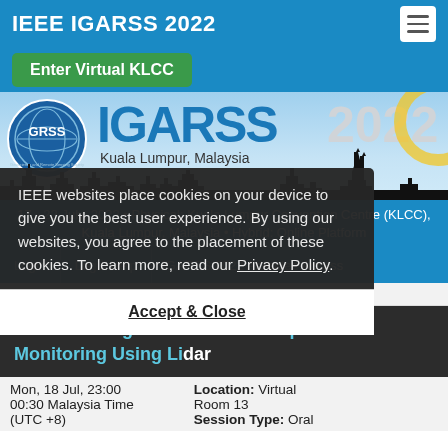IEEE IGARSS 2022
Enter Virtual KLCC
[Figure (illustration): IGARSS 2022 conference banner with GRSS logo, IGARSS 2022 Kuala Lumpur Malaysia text, and Kuala Lumpur skyline silhouette]
17 - 22 July, 2022 • Physical: Kuala Lumpur Convention Centre (KLCC), Kuala Lumpur, Malaysia • Hybrid: Online Platform
Login | Login Help | IGARSS 2022 Attendee Access
Technical Sessions / V13
MO7.V13: Vegetation and Atmospheric Monitoring Using Lidar
Mon, 18 Jul, 23:00 00:30 Malaysia Time (UTC +8)
Location: Virtual Room 13
Session Type: Oral
IEEE websites place cookies on your device to give you the best user experience. By using our websites, you agree to the placement of these cookies. To learn more, read our Privacy Policy.
Accept & Close